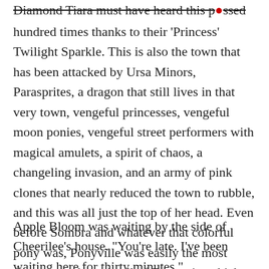Diamond Tiara must have heard this passed around a hundred times thanks to their 'Princess' Twilight Sparkle. This is also the town that has been attacked by Ursa Minors, Parasprites, a dragon that still lives in that very town, vengeful princesses, vengeful moon ponies, vengeful street performers with magical amulets, a spirit of chaos, a changeling invasion, and an army of pink clones that nearly reduced the town to rubble, and this was all just the top of her head. Even before Sombra and whatever that colorful pony was, Ponyville was easily the most dangerous places in all of Equestria, which made sneaking out all the more fun.
Apple Bloom was waiting by the side of Cheerilee's house. "You're late. I've been waiting here for thirty minutes."